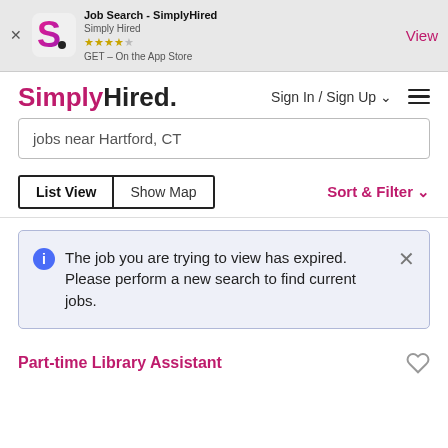[Figure (screenshot): SimplyHired app store banner with logo, star rating, and View button]
[Figure (logo): SimplyHired logo and navigation bar with Sign In / Sign Up and hamburger menu]
jobs near Hartford, CT
List View  Show Map  Sort & Filter
The job you are trying to view has expired. Please perform a new search to find current jobs.
Part-time Library Assistant